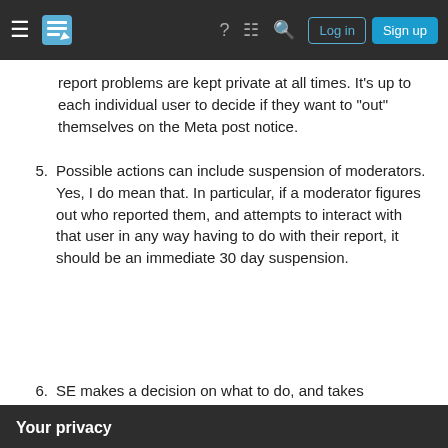Stack Exchange navigation bar with hamburger, logo, help, chat, search, Log in, Sign up
report problems are kept private at all times. It's up to each individual user to decide if they want to "out" themselves on the Meta post notice.
5. Possible actions can include suspension of moderators. Yes, I do mean that. In particular, if a moderator figures out who reported them, and attempts to interact with that user in any way having to do with their report, it should be an immediate 30 day suspension.
6. SE makes a decision on what to do, and takes
Your privacy
By clicking "Accept all cookies", you agree Stack Exchange can store cookies on your device and disclose information in accordance with our Cookie Policy.
disputes like this, for reasons which should already